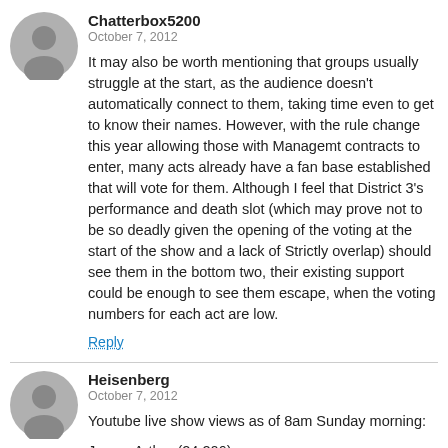Chatterbox5200
October 7, 2012
It may also be worth mentioning that groups usually struggle at the start, as the audience doesn't automatically connect to them, taking time even to get to know their names. However, with the rule change this year allowing those with Managemt contracts to enter, many acts already have a fan base established that will vote for them. Although I feel that District 3's performance and death slot (which may prove not to be so deadly given the opening of the voting at the start of the show and a lack of Strictly overlap) should see them in the bottom two, their existing support could be enough to see them escape, when the voting numbers for each act are low.
Reply
Heisenberg
October 7, 2012
Youtube live show views as of 8am Sunday morning:
James Arthur (24,206)
Union J (21,328)
Lucy (20,886)